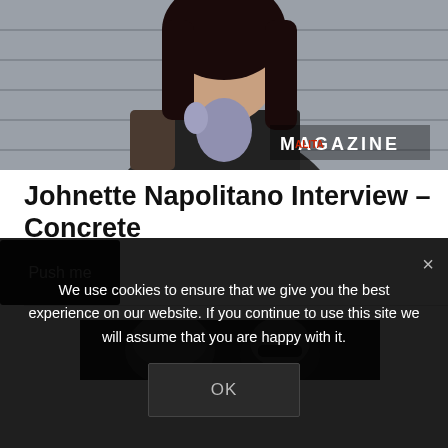[Figure (photo): Photo of a woman with dark hair and tattoos, holding a microphone with furry windscreen. Magazine logo watermark visible in bottom-right.]
Johnette Napolitano Interview – Concrete
Push me
[Figure (photo): Partial black-and-white photo of a person, partially obscured by cookie consent overlay.]
We use cookies to ensure that we give you the best experience on our website. If you continue to use this site we will assume that you are happy with it.
OK